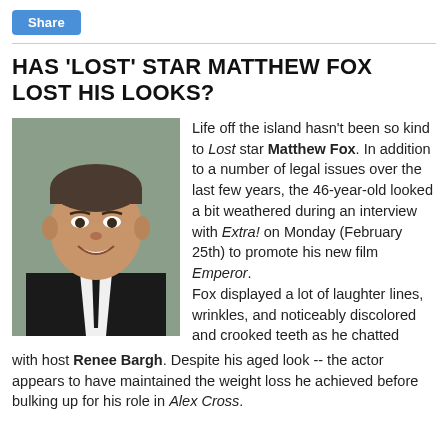Share
HAS 'LOST' STAR MATTHEW FOX LOST HIS LOOKS?
[Figure (photo): Headshot of Matthew Fox wearing a black suit and white shirt with black tie, smiling at the camera]
Life off the island hasn't been so kind to Lost star Matthew Fox. In addition to a number of legal issues over the last few years, the 46-year-old looked a bit weathered during an interview with Extra! on Monday (February 25th) to promote his new film Emperor. Fox displayed a lot of laughter lines, wrinkles, and noticeably discolored and crooked teeth as he chatted with host Renee Bargh. Despite his aged look -- the actor appears to have maintained the weight loss he achieved before bulking up for his role in Alex Cross.